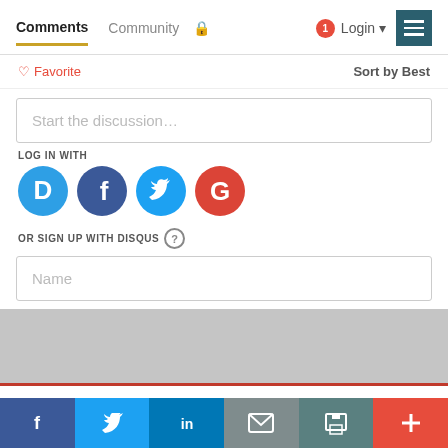Comments  Community  🔒  1  Login
♡ Favorite  Sort by Best
Start the discussion…
LOG IN WITH
[Figure (other): Social login icons: Disqus (blue circle with D), Facebook (dark blue circle with f), Twitter (light blue circle with bird), Google (red circle with G)]
OR SIGN UP WITH DISQUS ?
Name
f  t  in  ✉  🖨  +